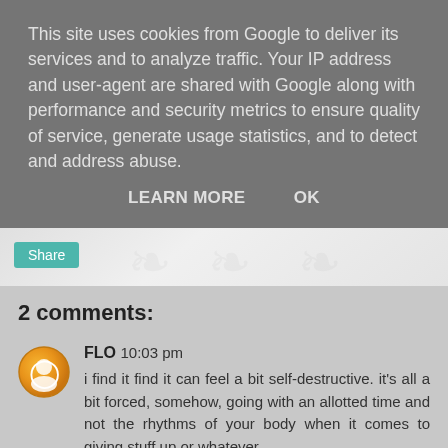This site uses cookies from Google to deliver its services and to analyze traffic. Your IP address and user-agent are shared with Google along with performance and security metrics to ensure quality of service, generate usage statistics, and to detect and address abuse.
LEARN MORE   OK
Share
2 comments:
FLO  10:03 pm
i find it find it can feel a bit self-destructive. it's all a bit forced, somehow, going with an allotted time and not the rhythms of your body when it comes to giving stuff up or whatever...
i am taking up listening better and being more assertive. contrary to common belief i am not so good